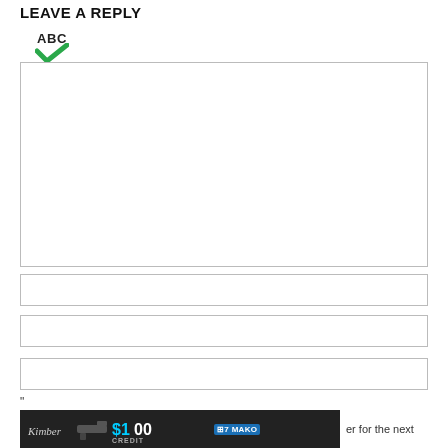LEAVE A REPLY
[Figure (logo): ABC spellcheck icon with green checkmark below the letters ABC]
Comment:
Name:*
Email:*
Website:
"
[Figure (photo): Advertisement banner showing a gun with $100 CREDIT text and MAKO branding, partially cut off at bottom of page with text 'er for the next' visible to the right]